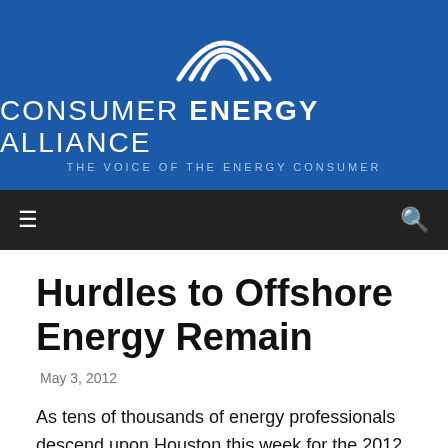[Figure (logo): Consumer Energy Alliance logo with arc graphic above text. White arcs on blue background. Text reads CONSUMER ENERGY ALLIANCE / THE VOICE OF THE ENERGY CONSUMER]
≡   🔍
Hurdles to Offshore Energy Remain
May 3, 2012
As tens of thousands of energy professionals descend upon Houston this week for the 2012 Offshore Technology Conference, we are reminded just how far technology has come in such a short time.  In the two years since the Deepwater Horizon tragedy, both the private sector and federal regulators have advanced new technologies and